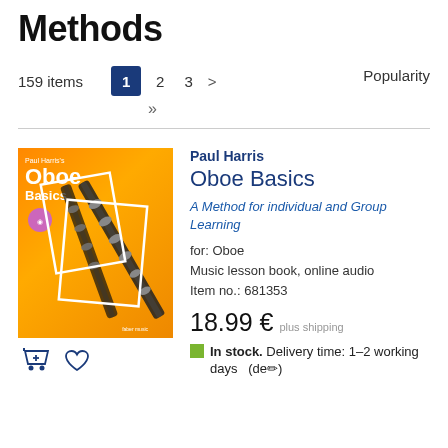Methods
159 items   1  2  3  >  >>   Popularity
[Figure (illustration): Book cover: Paul Harris's Oboe Basics — orange cover with oboe instrument illustration]
Paul Harris
Oboe Basics
A Method for individual and Group Learning
for: Oboe
Music lesson book, online audio
Item no.: 681353
18.99 €  plus shipping
In stock. Delivery time: 1–2 working days   (de ✏)